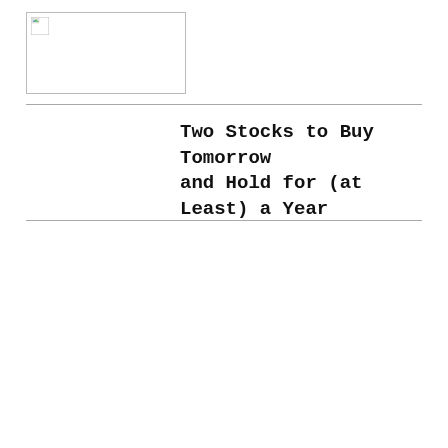[Figure (other): Placeholder image box with broken image icon in top-left corner]
Two Stocks to Buy Tomorrow and Hold for (at Least) a Year